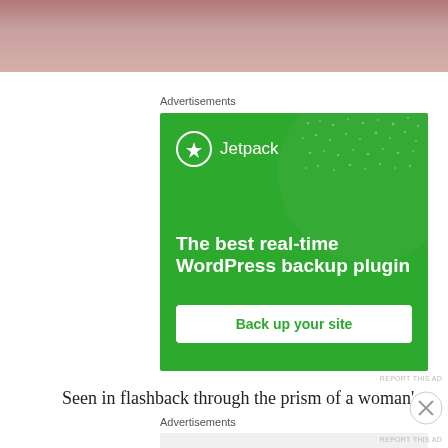[Figure (photo): Partial photo of a person, showing what appears to be a pink/mauve colored garment or fabric, cropped at the top of the page.]
Advertisements
[Figure (infographic): Jetpack advertisement banner with green background. Shows Jetpack logo with lightning bolt icon, text reading 'The best real-time WordPress backup plugin', and a white button labeled 'Back up your site'.]
REPORT THIS AD
Seen in flashback through the prism of a woman's
Advertisements
REPORT THIS AD